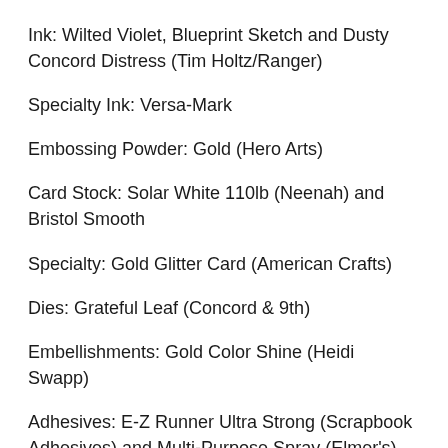Ink: Wilted Violet, Blueprint Sketch and Dusty Concord Distress (Tim Holtz/Ranger)
Specialty Ink: Versa-Mark
Embossing Powder: Gold (Hero Arts)
Card Stock: Solar White 110lb (Neenah) and Bristol Smooth
Specialty: Gold Glitter Card (American Crafts)
Dies: Grateful Leaf (Concord & 9th)
Embellishments: Gold Color Shine (Heidi Swapp)
Adhesives: E-Z Runner Ultra Strong (Scrapbook Adhesives) and Multi-Purpose Spray (Elmer's)